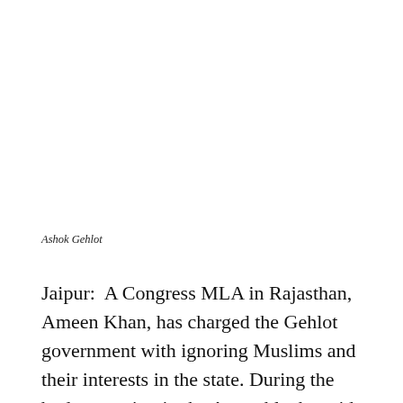Ashok Gehlot
Jaipur:  A Congress MLA in Rajasthan, Ameen Khan, has charged the Gehlot government with ignoring Muslims and their interests in the state. During the budget session in the Assembly, he said, “Everyone knows that 95 per cent Muslim citizens go for polling and of them, 99 per cent vote for the